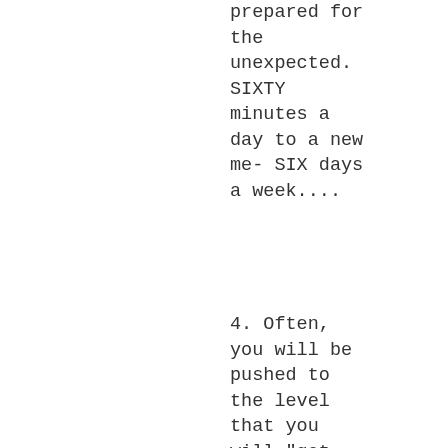prepared for the unexpected. SIXTY minutes a day to a new me- SIX days a week....
4. Often, you will be pushed to the level that you will "get sick" or have to go the restroom to try to "get sick."